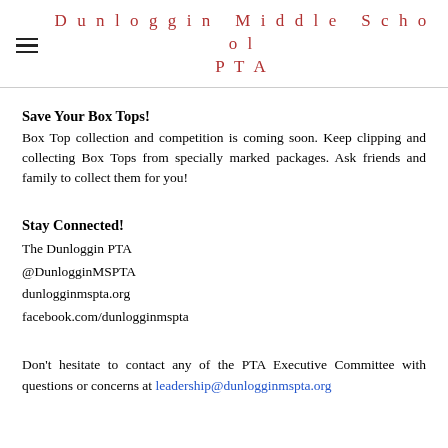Dunloggin Middle School PTA
Save Your Box Tops!
Box Top collection and competition is coming soon. Keep clipping and collecting Box Tops from specially marked packages. Ask friends and family to collect them for you!
Stay Connected!
The Dunloggin PTA
@DunlogginMSPTA
dunlogginmspta.org
facebook.com/dunlogginmspta
Don't hesitate to contact any of the PTA Executive Committee with questions or concerns at leadership@dunlogginmspta.org